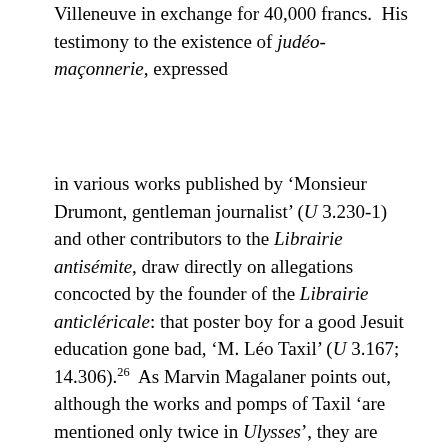Villeneuve in exchange for 40,000 francs.  His testimony to the existence of judéo-maçonnerie, expressed
in various works published by 'Monsieur Drumont, gentleman journalist' (U 3.230-1) and other contributors to the Librairie antisémite, draw directly on allegations concocted by the founder of the Librairie anticléricale: that poster boy for a good Jesuit education gone bad, 'M. Léo Taxil' (U 3.167; 14.306).26  As Marvin Magalaner points out, although the works and pomps of Taxil 'are mentioned only twice in Ulysses', they are 'inconspicuously present throughout'.  Indeed, 'For the reader who knows of the Taxil-Freemasonry fiasco, the